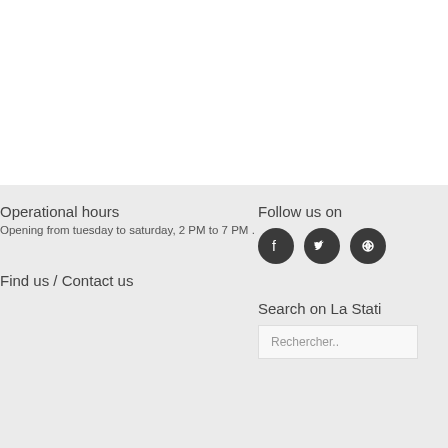Operational hours
Opening from tuesday to saturday, 2 PM to 7 PM .
Find us / Contact us
Follow us on
[Figure (infographic): Three circular social media icons: Facebook, Twitter, RSS feed]
Search on La Stati
Rechercher..